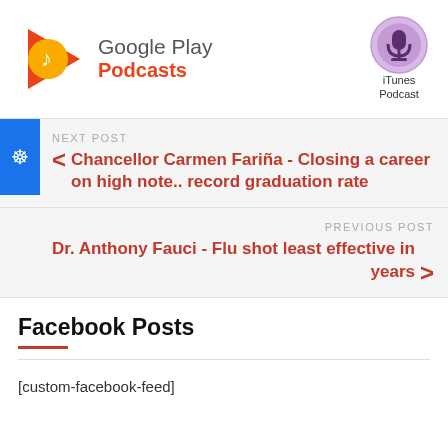[Figure (logo): Google Play Podcasts logo with orange/red play triangle and music note icon, with text 'Google Play' in gray and 'Podcasts' in red/orange]
[Figure (logo): iTunes Podcast logo - purple circle with microphone icon, labeled 'iTunes Podcast']
NEXT POST
Chancellor Carmen Fariña - Closing a career on high note.. record graduation rate
PREVIOUS POST
Dr. Anthony Fauci - Flu shot least effective in years
Facebook Posts
[custom-facebook-feed]